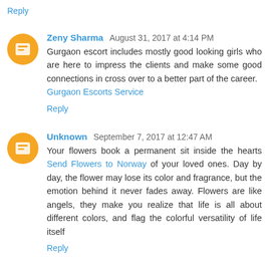Reply
Zeny Sharma  August 31, 2017 at 4:14 PM
Gurgaon escort includes mostly good looking girls who are here to impress the clients and make some good connections in cross over to a better part of the career. Gurgaon Escorts Service
Reply
Unknown  September 7, 2017 at 12:47 AM
Your flowers book a permanent sit inside the hearts Send Flowers to Norway of your loved ones. Day by day, the flower may lose its color and fragrance, but the emotion behind it never fades away. Flowers are like angels, they make you realize that life is all about different colors, and flag the colorful versatility of life itself
Reply